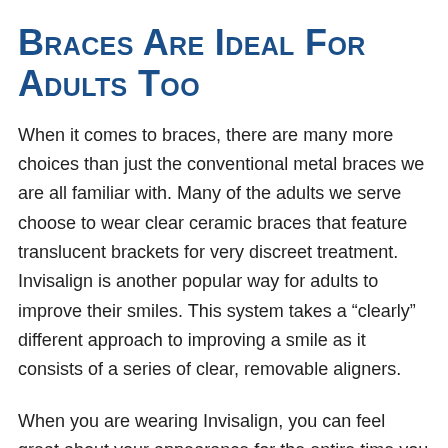Braces Are Ideal For Adults Too
When it comes to braces, there are many more choices than just the conventional metal braces we are all familiar with. Many of the adults we serve choose to wear clear ceramic braces that feature translucent brackets for very discreet treatment. Invisalign is another popular way for adults to improve their smiles. This system takes a “clearly” different approach to improving a smile as it consists of a series of clear, removable aligners.
When you are wearing Invisalign, you can feel great about your appearance for the entire time you are in treatment, as most people will not even notice you have the aligners in. Additionally, when it comes time to enjoy a meal, you can